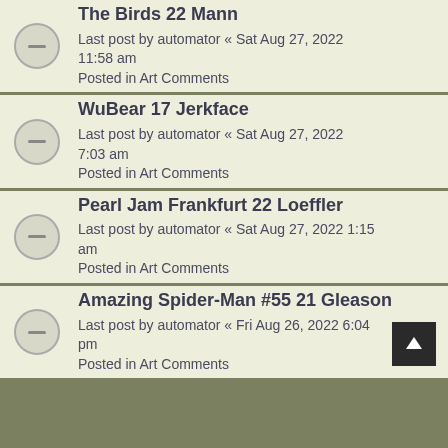The Birds 22 Mann
Last post by automator « Sat Aug 27, 2022 11:58 am
Posted in Art Comments
WuBear 17 Jerkface
Last post by automator « Sat Aug 27, 2022 7:03 am
Posted in Art Comments
Pearl Jam Frankfurt 22 Loeffler
Last post by automator « Sat Aug 27, 2022 1:15 am
Posted in Art Comments
Amazing Spider-Man #55 21 Gleason
Last post by automator « Fri Aug 26, 2022 6:04 pm
Posted in Art Comments